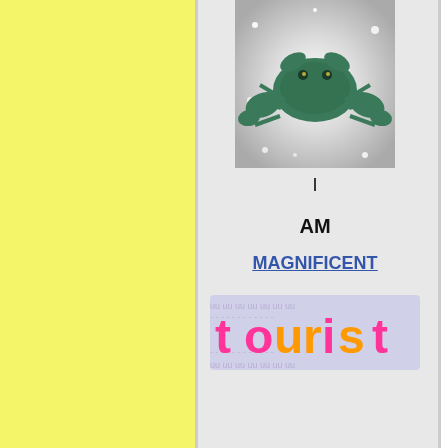[Figure (illustration): Yellow textured panel on the left side of the page]
[Figure (photo): Green metallic crab figurine on a sparkly white/grey background]
I
AM
MAGNIFICENT
[Figure (illustration): Colorful tourist logo/badge with pink and orange text on a patterned background with small repeated character motifs]